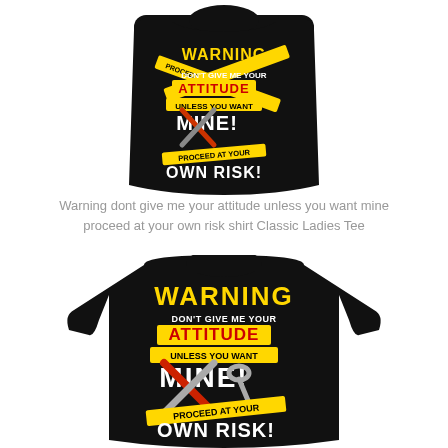[Figure (photo): Black t-shirt (top/front, ladies tee style) with 'WARNING DON'T GIVE ME YOUR ATTITUDE UNLESS YOU WANT MINE! PROCEED AT YOUR OWN RISK!' graphic print with yellow caution tape and tool design]
Warning dont give me your attitude unless you want mine proceed at your own risk shirt Classic Ladies Tee
[Figure (photo): Black long-sleeve t-shirt with bold 'WARNING DON'T GIVE ME YOUR ATTITUDE UNLESS YOU WANT MINE! PROCEED AT YOUR OWN RISK!' graphic print with yellow caution tape, red and white text, and crossed tools design]